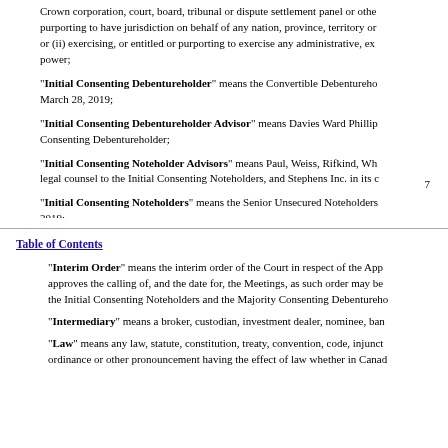Crown corporation, court, board, tribunal or dispute settlement panel or other body purporting to have jurisdiction on behalf of any nation, province, territory or (ii) exercising, or entitled or purporting to exercise any administrative, ex power;
"Initial Consenting Debentureholder" means the Convertible Debentureholder March 28, 2019;
"Initial Consenting Debentureholder Advisor" means Davies Ward Phillips Consenting Debentureholder;
"Initial Consenting Noteholder Advisors" means Paul, Weiss, Rifkind, Wh legal counsel to the Initial Consenting Noteholders, and Stephens Inc. in its c
"Initial Consenting Noteholders" means the Senior Unsecured Noteholders 2019;
7
Table of Contents
"Interim Order" means the interim order of the Court in respect of the App approves the calling of, and the date for, the Meetings, as such order may be the Initial Consenting Noteholders and the Majority Consenting Debentureho
"Intermediary" means a broker, custodian, investment dealer, nominee, ban
"Law" means any law, statute, constitution, treaty, convention, code, injunct ordinance or other pronouncement having the effect of law whether in Canad